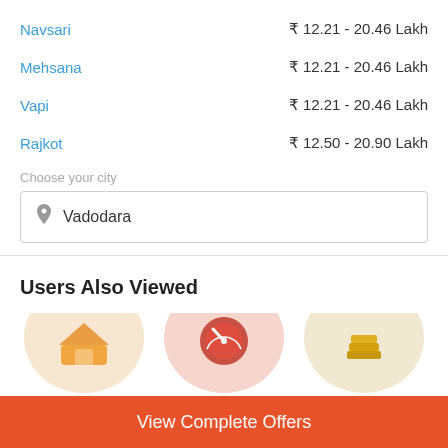Navsari  ₹ 12.21 - 20.46 Lakh
Mehsana  ₹ 12.21 - 20.46 Lakh
Vapi  ₹ 12.21 - 20.46 Lakh
Rajkot  ₹ 12.50 - 20.90 Lakh
Choose your city
Vadodara
Users Also Viewed
[Figure (illustration): Three circular icon illustrations partially visible at the bottom]
View Complete Offers